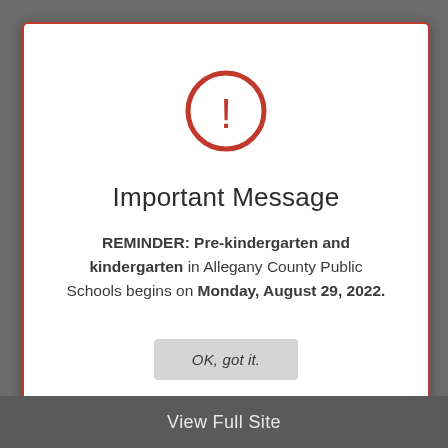[Figure (illustration): Red circle with exclamation mark warning icon]
Important Message
REMINDER: Pre-kindergarten and kindergarten in Allegany County Public Schools begins on Monday, August 29, 2022.
OK, got it.
View Full Site